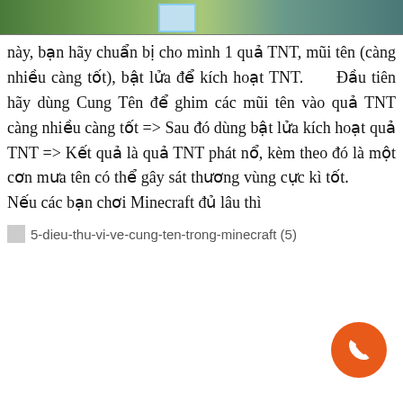[Figure (photo): Top banner image showing a Minecraft scene with greenery and a highlighted blue square element]
này, bạn hãy chuẩn bị cho mình 1 quả TNT, mũi tên (càng nhiều càng tốt), bật lửa để kích hoạt TNT.     Đầu tiên hãy dùng Cung Tên để ghim các mũi tên vào quả TNT càng nhiều càng tốt => Sau đó dùng bật lửa kích hoạt quả TNT => Kết quả là quả TNT phát nổ, kèm theo đó là một cơn mưa tên có thể gây sát thương vùng cực kì tốt.          Nếu các bạn chơi Minecraft đủ lâu thì
[Figure (photo): Alt text placeholder: 5-dieu-thu-vi-ve-cung-ten-trong-minecraft (5)]